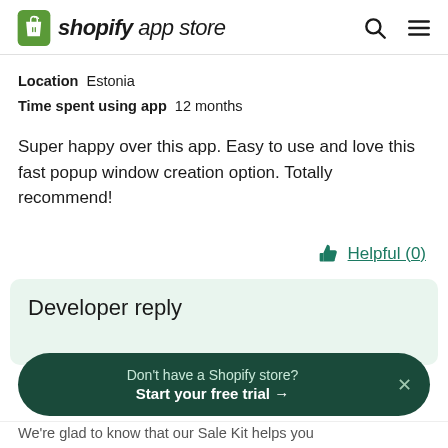shopify app store
Location  Estonia
Time spent using app  12 months
Super happy over this app. Easy to use and love this fast popup window creation option. Totally recommend!
Helpful (0)
Developer reply
Don't have a Shopify store?
Start your free trial →
We're glad to know that our Sale Kit helps you